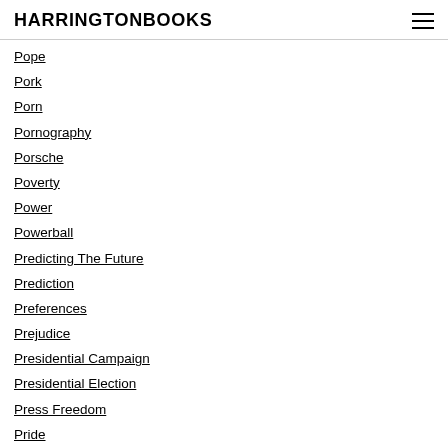HARRINGTONBOOKS
Pope
Pork
Porn
Pornography
Porsche
Poverty
Power
Powerball
Predicting The Future
Prediction
Preferences
Prejudice
Presidential Campaign
Presidential Election
Press Freedom
Pride
Prison